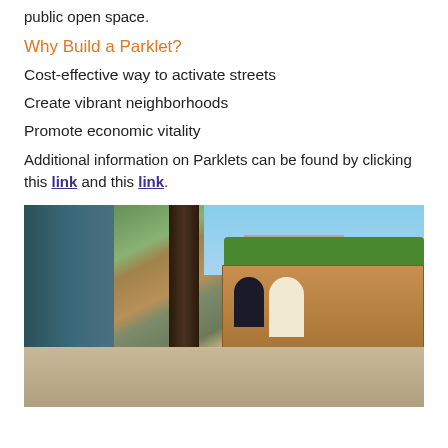public open space.
Why Build a Parklet?
Cost-effective way to activate streets
Create vibrant neighborhoods
Promote economic vitality
Additional information on Parklets can be found by clicking this link and this link.
[Figure (photo): Street-level photo of a parklet with wooden planter/seating structure, trees, sidewalk, and people sitting, in an urban downtown setting]